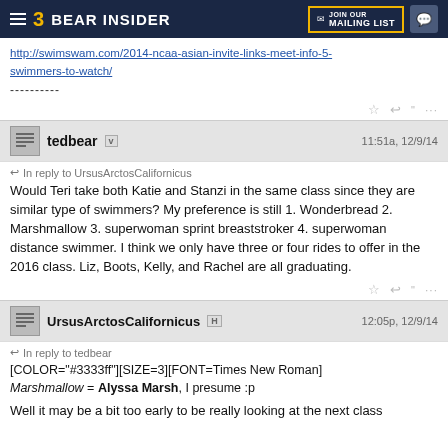Bear Insider
http://swimswam.com/2014-ncaa-asian-invite-links-meet-info-5-swimmers-to-watch/
----------
tedbear v  11:51a, 12/9/14
In reply to UrsusArctosCalifornicus
Would Teri take both Katie and Stanzi in the same class since they are similar type of swimmers? My preference is still 1. Wonderbread 2. Marshmallow 3. superwoman sprint breaststroker 4. superwoman distance swimmer. I think we only have three or four rides to offer in the 2016 class. Liz, Boots, Kelly, and Rachel are all graduating.
UrsusArctosCalifornicus H  12:05p, 12/9/14
In reply to tedbear
[COLOR="#3333ff"][SIZE=3][FONT=Times New Roman]
Marshmallow = Alyssa Marsh, I presume :p

Well it may be a bit too early to be really looking at the next class